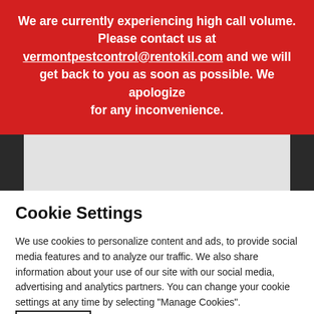We are currently experiencing high call volume. Please contact us at vermontpestcontrol@rentokil.com and we will get back to you as soon as possible. We apologize for any inconvenience.
[Figure (photo): Partial view of a landscape image strip, dark on edges with light grey center panel]
Cookie Settings
We use cookies to personalize content and ads, to provide social media features and to analyze our traffic. We also share information about your use of our site with our social media, advertising and analytics partners. You can change your cookie settings at any time by selecting "Manage Cookies". Privacy policy
Cookies Settings
Accept All Cookies